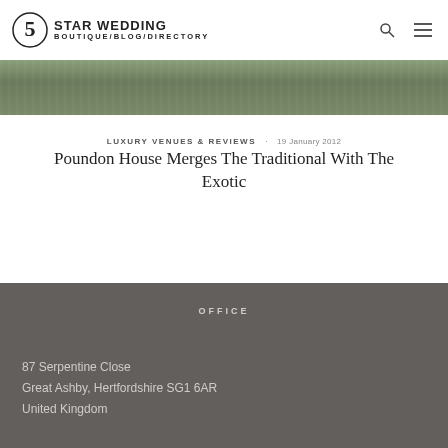5 STAR WEDDING BOUTIQUE/BLOG/DIRECTORY
[Figure (photo): Hero banner image showing a green/nature textured surface]
LUXURY VENUES & REVIEWS · 19 January 2012
Poundon House Merges The Traditional With The Exotic
OFFICE
87 Serpentine Close
Great Ashby, Hertfordshire SG1 6AR
United Kingdom